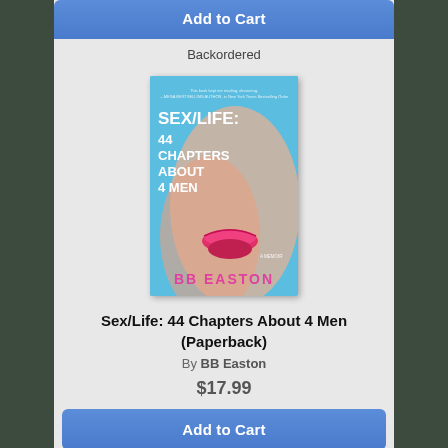[Figure (other): Blue 'Add to Cart' button (top, partially visible)]
Backordered
[Figure (photo): Book cover: Sex/Life: 44 Chapters About 4 Men by BB Easton — teal/pink cover with lips illustration]
Sex/Life: 44 Chapters About 4 Men (Paperback)
By BB Easton
$17.99
[Figure (other): Blue 'Add to Cart' button]
Special Order-Please Call For Availability
[Figure (photo): Book cover: Bad Gays — pink/yellow cover (partially visible at bottom)]